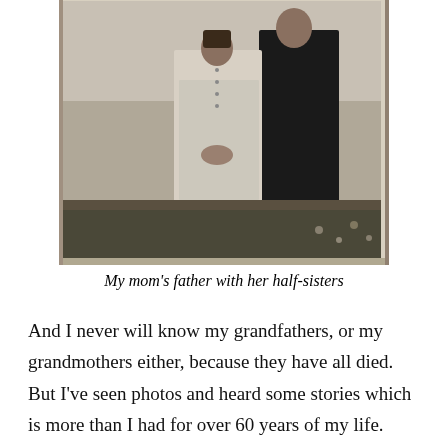[Figure (photo): Black and white vintage photograph of a man (mom's father) standing with two half-sisters outdoors. The subjects are wearing light-colored dresses and dark stockings/shoes. Background shows grass and foliage.]
My mom's father with her half-sisters
And I never will know my grandfathers, or my grandmothers either, because they have all died. But I've seen photos and heard some stories which is more than I had for over 60 years of my life.